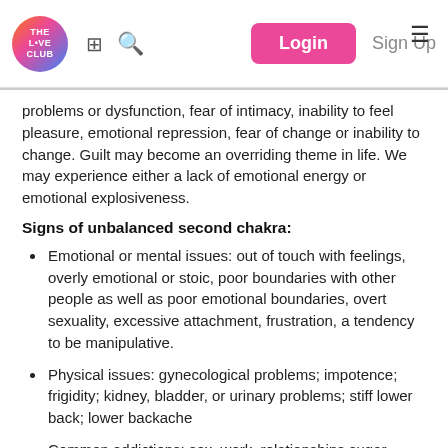The Love Club — Login / Sign Up navigation bar
problems or dysfunction, fear of intimacy, inability to feel pleasure, emotional repression, fear of change or inability to change. Guilt may become an overriding theme in life. We may experience either a lack of emotional energy or emotional explosiveness.
Signs of unbalanced second chakra:
Emotional or mental issues: out of touch with feelings, overly emotional or stoic, poor boundaries with other people as well as poor emotional boundaries, overt sexuality, excessive attachment, frustration, a tendency to be manipulative.
Physical issues: gynecological problems; impotence; frigidity; kidney, bladder, or urinary problems; stiff lower back; lower backache
Common addictions: sex, work, relationships sugar
When the Sacral Chakra is balanced, we feel confident and